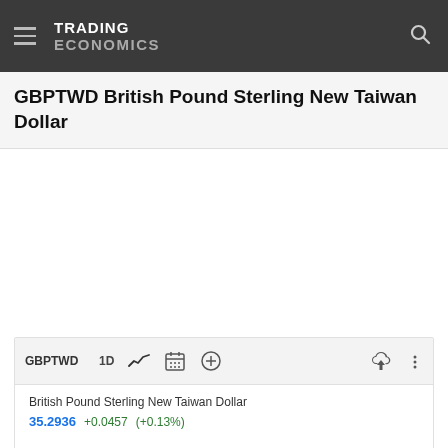TRADING ECONOMICS
GBPTWD British Pound Sterling New Taiwan Dollar
[Figure (screenshot): Trading Economics chart widget for GBPTWD showing toolbar with 1D period selector, chart icon, calendar icon, zoom icon, download icon, and more options icon]
British Pound Sterling New Taiwan Dollar
35.2936   +0.0457   (+0.13%)
39